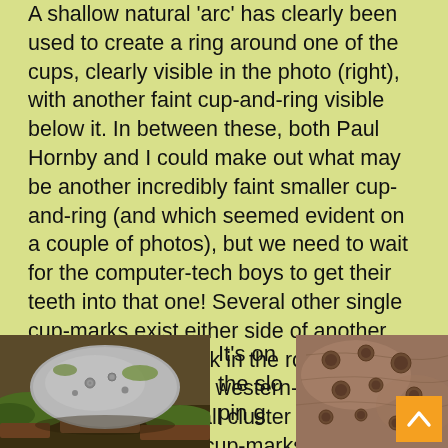A shallow natural 'arc' has clearly been used to create a ring around one of the cups, clearly visible in the photo (right), with another faint cup-and-ring visible below it.  In between these, both Paul Hornby and I could make out what may be another incredibly faint smaller cup-and-ring (and which seemed evident on a couple of photos), but we need to wait for the computer-tech boys to get their teeth into that one!  Several other single cup-marks exist either side of another moss-covered crack in the rock.  And as we roll over the top western-edge of the stone, another small cluster of three, maybe four single cup-marks greets our attention.
[Figure (photo): A rounded mossy stone with cup marks visible, lying on grass and bracken]
It's on the slo pin g
[Figure (photo): Close-up of a rock surface showing multiple cup marks carved into the stone]